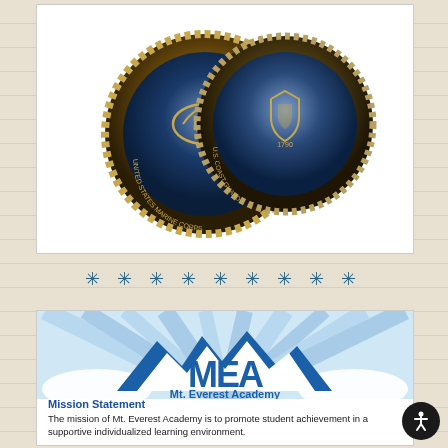[Figure (photo): Two military branch medallions/coins — United States Marine Corps and United States Coast Guard — on a white background inside a bordered box]
* * * * * * * * *
[Figure (logo): Mt. Everest Academy logo: stylized MEA letters as mountain peaks with blue sunburst rays behind, with text 'Mt. Everest Academy' below in blue]
Mission Statement
The mission of Mt. Everest Academy is to promote student achievement in a supportive individualized learning environment.